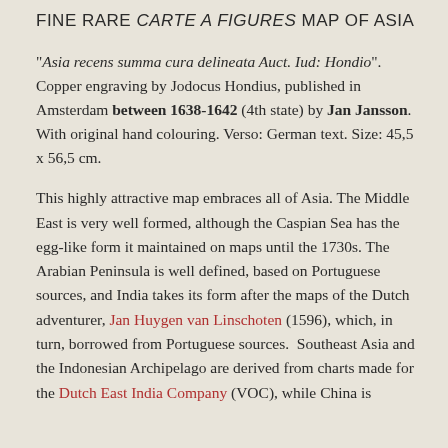FINE RARE CARTE A FIGURES MAP OF ASIA
"Asia recens summa cura delineata Auct. Iud: Hondio". Copper engraving by Jodocus Hondius, published in Amsterdam between 1638-1642 (4th state) by Jan Jansson. With original hand colouring. Verso: German text. Size: 45,5 x 56,5 cm.
This highly attractive map embraces all of Asia. The Middle East is very well formed, although the Caspian Sea has the egg-like form it maintained on maps until the 1730s. The Arabian Peninsula is well defined, based on Portuguese sources, and India takes its form after the maps of the Dutch adventurer, Jan Huygen van Linschoten (1596), which, in turn, borrowed from Portuguese sources.  Southeast Asia and the Indonesian Archipelago are derived from charts made for the Dutch East India Company (VOC), while China is